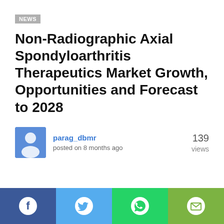NEWS
Non-Radiographic Axial Spondyloarthritis Therapeutics Market Growth, Opportunities and Forecast to 2028
parag_dbmr
posted on 8 months ago
139 views